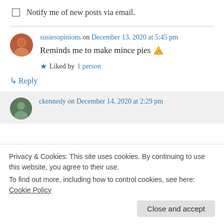Notify me of new posts via email.
susiesopinions on December 13, 2020 at 5:45 pm
Reminds me to make mince pies 🍕
Liked by 1 person
↳ Reply
ckennedy on December 14, 2020 at 2:29 pm
Privacy & Cookies: This site uses cookies. By continuing to use this website, you agree to their use.
To find out more, including how to control cookies, see here: Cookie Policy
Close and accept